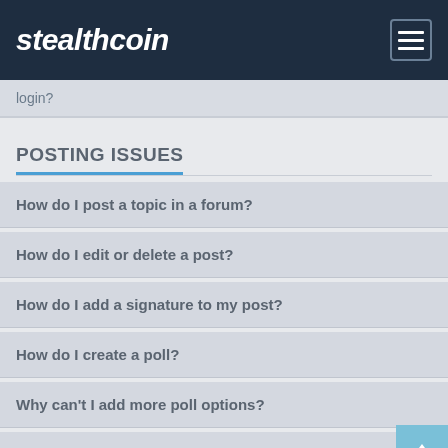stealthcoin
login?
POSTING ISSUES
How do I post a topic in a forum?
How do I edit or delete a post?
How do I add a signature to my post?
How do I create a poll?
Why can't I add more poll options?
How do I edit or delete a poll?